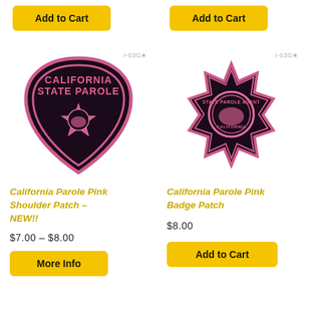[Figure (illustration): Yellow 'Add to Cart' button, top left]
[Figure (illustration): Yellow 'Add to Cart' button, top right]
[Figure (photo): California State Parole pink shoulder patch — pink and black embroidered shield shape with star badge center]
[Figure (photo): California State Parole pink badge patch — pink and black embroidered 7-point star badge]
California Parole Pink Shoulder Patch – NEW!!
$7.00 – $8.00
[Figure (illustration): Yellow 'More Info' button]
California Parole Pink Badge Patch
$8.00
[Figure (illustration): Yellow 'Add to Cart' button, bottom right]